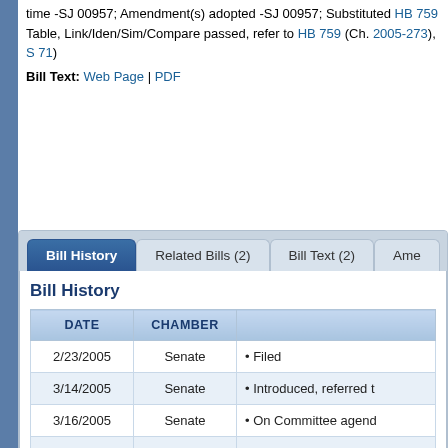time -SJ 00957; Amendment(s) adopted -SJ 00957; Substituted HB 759 Table, Link/Iden/Sim/Compare passed, refer to HB 759 (Ch. 2005-273), S 71)
Bill Text: Web Page | PDF
Bill History
| DATE | CHAMBER |  |
| --- | --- | --- |
| 2/23/2005 | Senate | • Filed |
| 3/14/2005 | Senate | • Introduced, referred t |
| 3/16/2005 | Senate | • On Committee agend |
| 3/21/2005 | Senate | • Favorable by Environ |